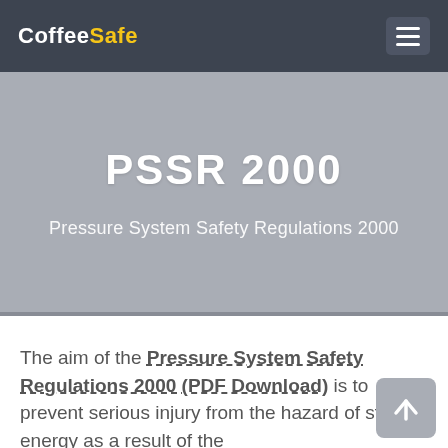CoffeeSafe
PSSR 2000
Pressure System Safety Regulations 2000
The aim of the Pressure System Safety Regulations 2000 (PDF Download) is to prevent serious injury from the hazard of stored energy as a result of the